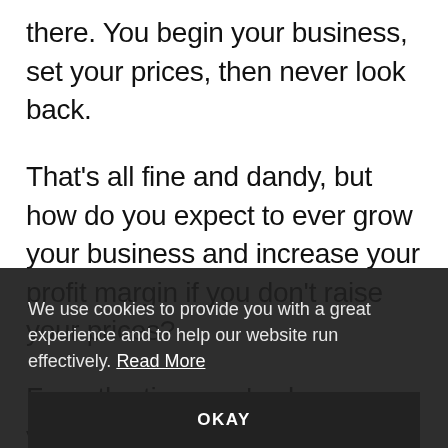there. You begin your business, set your prices, then never look back.
That's all fine and dandy, but how do you expect to ever grow your business and increase your profit margin if you don't raise your prices?
From the time you've begun your business, ...d, more ...a better all- ...e even more of ...you know how to help them be more productive as agents.
We use cookies to provide you with a great experience and to help our website run effectively. Read More
OKAY